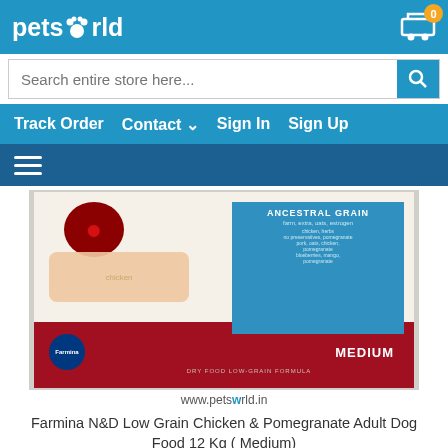petsworld
Search entire store here...
Track Order  Contact  Sign In  Sign Up
[Figure (photo): Farmina N&D Low Grain Chicken & Pomegranate Adult Dog Food 12 Kg (Medium) product package image showing ANCESTRAL GRAIN text, pomegranate fruit, chicken pieces, grain seeds on a red and white box with Farmina logo and MEDIUM label. URL www.petsworld.in shown below.]
Farmina N&D Low Grain Chicken & Pomegranate Adult Dog Food 12 Kg ( Medium)
₹8,190.00 Earn 486 Reward Points
ADD TO CART